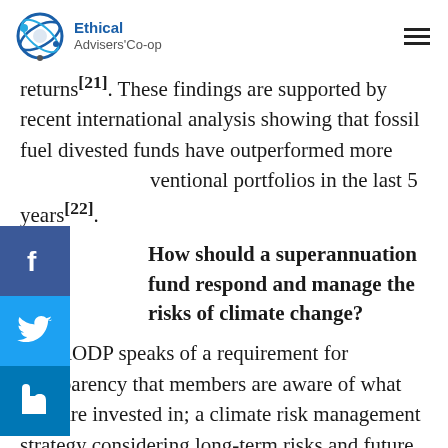Ethical Advisers' Co-op
returns[21]. These findings are supported by recent international analysis showing that fossil fuel divested funds have outperformed more conventional portfolios in the last 5 years[22].
How should a superannuation fund respond and manage the risks of climate change?
The AODP speaks of a requirement for transparency that members are aware of what they are invested in; a climate risk management strategy considering long-term risks and future climate regulation; low carbon investments as a hedge to climate risk with an appropriate diversification framework that will not be impacted